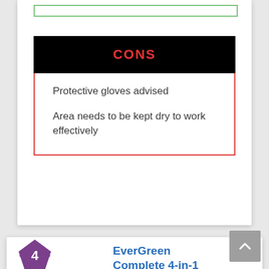[Figure (other): Green-bordered rectangle at top of white card (partial, cropped at top)]
CONS
Protective gloves advised
Area needs to be kept dry to work effectively
EverGreen Complete 4-in-1